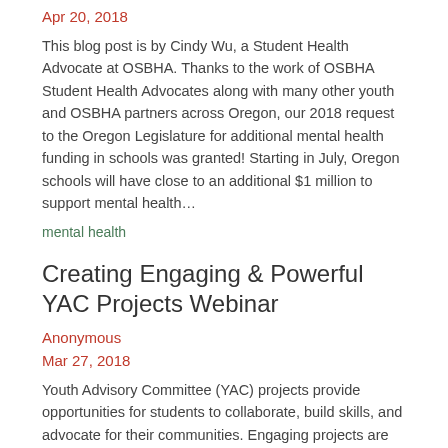Apr 20, 2018
This blog post is by Cindy Wu, a Student Health Advocate at OSBHA. Thanks to the work of OSBHA Student Health Advocates along with many other youth and OSBHA partners across Oregon, our 2018 request to the Oregon Legislature for additional mental health funding in schools was granted! Starting in July, Oregon schools will have close to an additional $1 million to support mental health…
mental health
Creating Engaging & Powerful YAC Projects Webinar
Anonymous
Mar 27, 2018
Youth Advisory Committee (YAC) projects provide opportunities for students to collaborate, build skills, and advocate for their communities. Engaging projects are also essential for retention of YAC members. Whether you have a YAC or are thinking about starting one, this webinar will provide you with tools to create engaging and powerful YAC projects. Identify what makes a YAC…
webinar; youth engagement